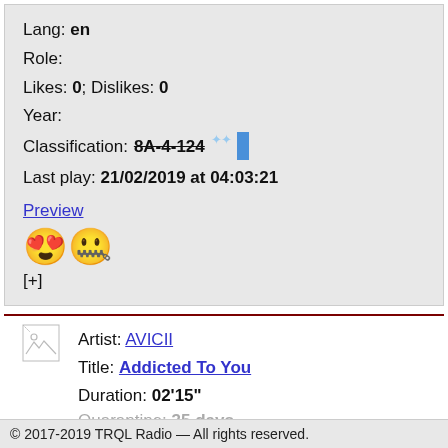Lang: en
Role:
Likes: 0; Dislikes: 0
Year:
Classification: 8A-4-124
Last play: 21/02/2019 at 04:03:21
Preview
[Figure (other): Two emojis: heart-eyes face and zipper-mouth face]
[+]
[Figure (other): Broken image placeholder icon]
Artist: AVICII
Title: Addicted To You
Duration: 02'15"
Quarantine: 35 days
Genre: pop/rock
© 2017-2019 TRQL Radio — All rights reserved.